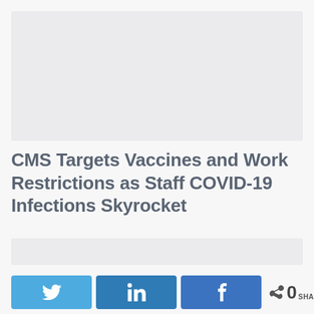[Figure (other): Top placeholder image block, light gray background]
CMS Targets Vaccines and Work Restrictions as Staff COVID-19 Infections Skyrocket
[Figure (other): Bottom placeholder image block, light gray background]
0 SHARES — social share bar with Twitter, LinkedIn, Facebook buttons